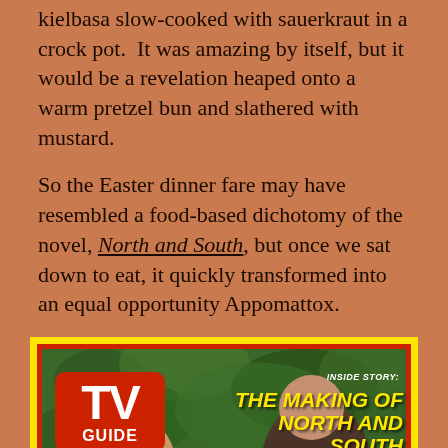kielbasa slow-cooked with sauerkraut in a crock pot. It was amazing by itself, but it would be a revelation heaped onto a warm pretzel bun and slathered with mustard.
So the Easter dinner fare may have resembled a food-based dichotomy of the novel, North and South, but once we sat down to eat, it quickly transformed into an equal opportunity Appomattox.
[Figure (photo): TV Guide magazine cover featuring 'Inside Story: The Making of North and South'. Shows the TV Guide logo in red on left, bold yellow italic text on right reading 'THE MAKING OF NORTH AND SOUTH', with two people (a woman and a man) in the foreground against a green leafy background. Dated Nov. 2-8, 60c.]